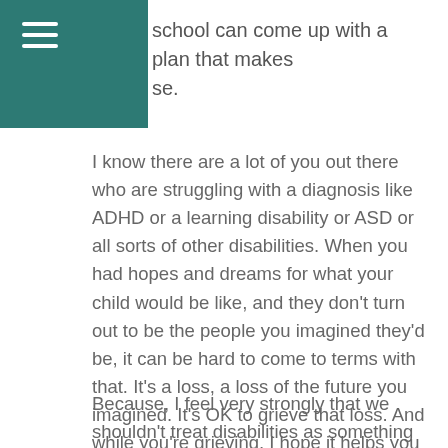school can come up with a plan that makes sense.
I know there are a lot of you out there who are struggling with a diagnosis like ADHD or a learning disability or ASD or all sorts of other disabilities. When you had hopes and dreams for what your child would be like, and they don't turn out to be the people you imagined they'd be, it can be hard to come to terms with that. It's a loss, a loss of the future you imagined. It's OK to grieve that loss. And while you're grieving, I hope it helps you to know that you're not alone, and that you don't have to feel shame about your child's condition.
Because, I feel very strongly that we shouldn't treat disabilities as something to be ashamed of. They